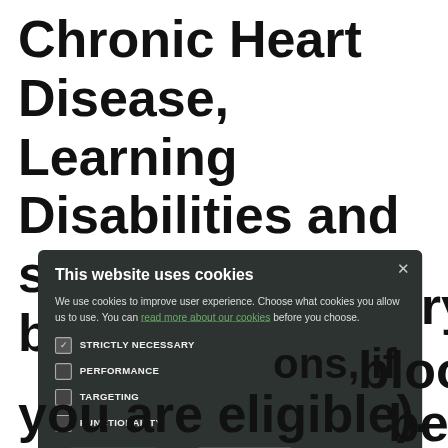Chronic Heart Disease, Learning Disabilities and so on). Please book an
[Figure (screenshot): Cookie consent modal dialog with dark background. Title: 'This website uses cookies'. Body text explains cookie usage with a link 'read more about our cookies'. Four checkboxes: STRICTLY NECESSARY (checked), PERFORMANCE (unchecked), TARGETING (unchecked), FUNCTIONALITY (unchecked). Two buttons: ACCEPT ALL (green) and DECLINE ALL (outline). Close X button top right.]
urgery
e
blood
be
ons, if
you are eligible).